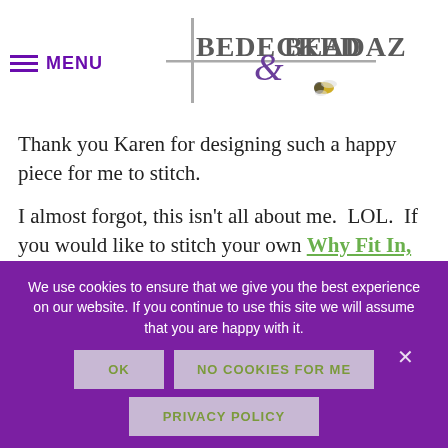MENU | Bedecked & Beadazzled (logo)
Thank you Karen for designing such a happy piece for me to stitch.
I almost forgot, this isn't all about me.  LOL.  If you would like to stitch your own Why Fit In, click the link here, or give us a call at 410.296.0405.
We use cookies to ensure that we give you the best experience on our website. If you continue to use this site we will assume that you are happy with it.
OK
NO COOKIES FOR ME
PRIVACY POLICY